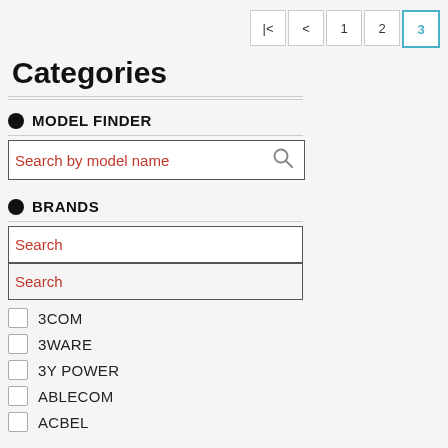|< < 1 2 3
Categories
MODEL FINDER
Search by model name
BRANDS
Search
Search
3COM
3WARE
3Y POWER
ABLECOM
ACBEL